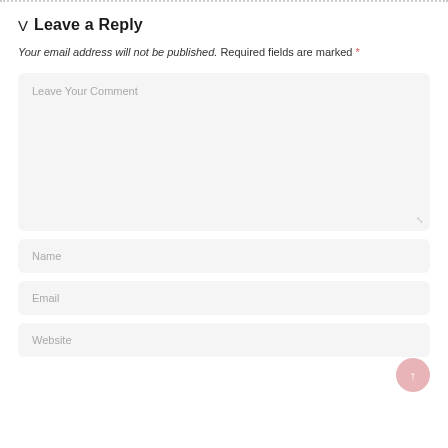V  Leave a Reply
Your email address will not be published. Required fields are marked *
[Figure (screenshot): Web comment form with textarea labeled 'Leave Your Comment', input fields for Name, Email, and partially visible Website]
Name
Email
Website